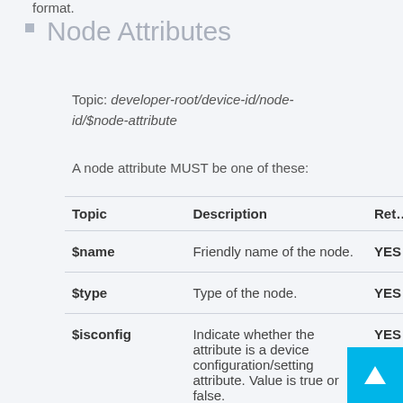format.
Node Attributes
Topic: developer-root/device-id/node-id/$node-attribute
A node attribute MUST be one of these:
| Topic | Description | Ret… |
| --- | --- | --- |
| $name | Friendly name of the node. | YES |
| $type | Type of the node. | YES |
| $isconfig | Indicate whether the attribute is a device configuration/setting attribute. Value is true or false. | YES |
[Figure (other): Back to top button — cyan square with upward arrow]